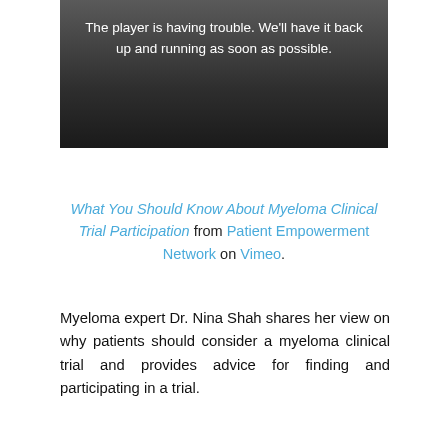[Figure (screenshot): Video player error screen with dark gradient background showing message: 'The player is having trouble. We'll have it back up and running as soon as possible.']
What You Should Know About Myeloma Clinical Trial Participation from Patient Empowerment Network on Vimeo.
Myeloma expert Dr. Nina Shah shares her view on why patients should consider a myeloma clinical trial and provides advice for finding and participating in a trial.